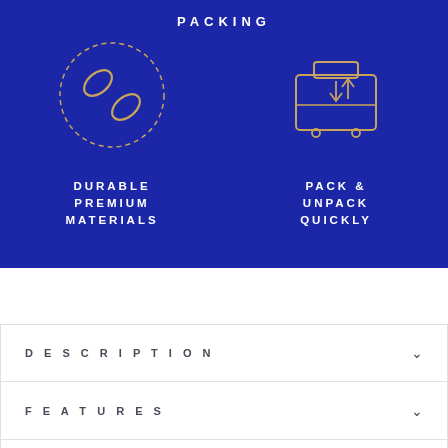PACKING
[Figure (illustration): Blue background section with two icons: a chain/link icon on the left labeled DURABLE PREMIUM MATERIALS, and a suitcase/luggage icon on the right labeled PACK & UNPACK QUICKLY. Both icons are drawn in orange/gold outline style on a dark blue background.]
DURABLE PREMIUM MATERIALS
PACK & UNPACK QUICKLY
DESCRIPTION
FEATURES
SPECIFICATIONS